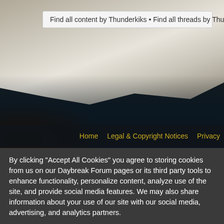Find all content by Thunderkiks • Find all threads by Thunderkiks
[Figure (illustration): Dark fantasy forum banner with aged parchment/stone texture in upper portion, gothic decorative border elements, dark teal/navy background below]
Home   Legal & Copyright Notices   Privacy
By clicking "Accept All Cookies" you agree to storing cookies from us on our Daybreak Forum pages or its third party tools to enhance functionality, personalize content, analyze use of the site, and provide social media features. We may also share information about your use of our site with our social media, advertising, and analytics partners.
✓ Accept All Daybreak Forums Cookies
✗ Reject All Daybreak Forum Cookies
Personalize Daybreak Forums Cookies   Cookie policy